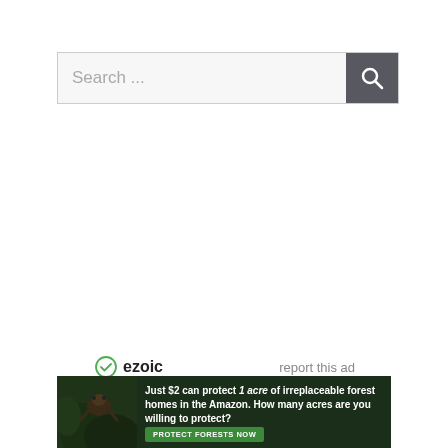[Figure (screenshot): Search bar with placeholder text 'Search ...' and a dark grey search button with magnifying glass icon]
ezoic   report this ad
[Figure (infographic): Advertisement banner with forest background showing a sloth, text: 'Just $2 can protect 1 acre of irreplaceable forest homes in the Amazon. How many acres are you willing to protect?' with a green 'PROTECT FORESTS NOW' button]